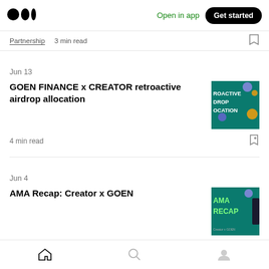Medium app header with logo, Open in app, Get started
Partnership · 3 min read
Jun 13
GOEN FINANCE x CREATOR retroactive airdrop allocation
4 min read
[Figure (illustration): Thumbnail image for GOEN FINANCE x CREATOR retroactive airdrop allocation article showing text ROACTIVE DROP OCATION on teal background with coin graphics]
Jun 4
AMA Recap: Creator x GOEN
9 min read
[Figure (illustration): Thumbnail image for AMA Recap: Creator x GOEN article showing text AMA RECAP on teal background]
Bottom navigation: Home, Search, Profile